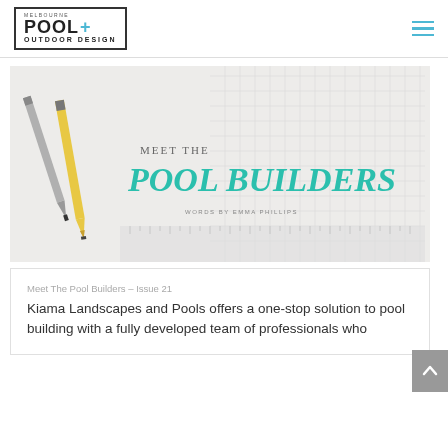MELBOURNE POOL+ OUTDOOR DESIGN
[Figure (photo): Hero image showing pencils and a ruler/scale on a drafting surface, with overlaid text 'MEET THE POOL BUILDERS – WORDS BY EMMA PHILLIPS' in teal/grey italic serif font on a light background with blueprint grid lines]
Meet The Pool Builders – Issue 21
Kiama Landscapes and Pools offers a one-stop solution to pool building with a fully developed team of professionals who